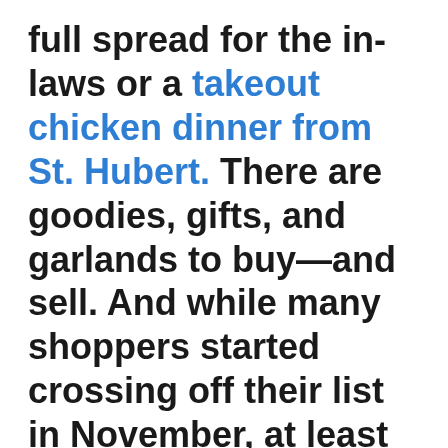full spread for the in-laws or a takeout chicken dinner from St. Hubert. There are goodies, gifts, and garlands to buy—and sell. And while many shoppers started crossing off their list in November, at least half of consumers were not so organized. Luckily, they still have three key shopping weeks to get their presents under the tree. Plus, don't forget Boxing Day Blowouts.